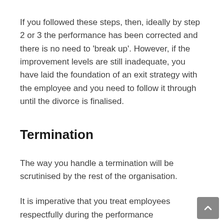If you followed these steps, then, ideally by step 2 or 3 the performance has been corrected and there is no need to 'break up'. However, if the improvement levels are still inadequate, you have laid the foundation of an exit strategy with the employee and you need to follow it through until the divorce is finalised.
Termination
The way you handle a termination will be scrutinised by the rest of the organisation.
It is imperative that you treat employees respectfully during the performance management process and preserve their dignity during an exit